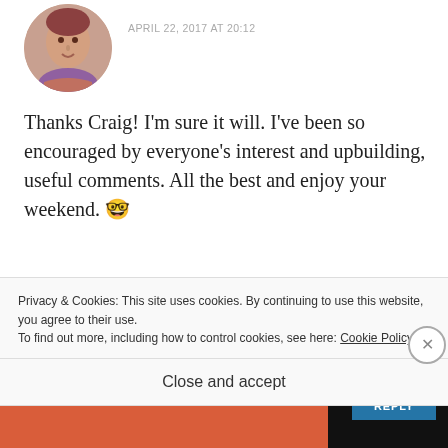[Figure (photo): Circular avatar photo of a woman with short hair]
APRIL 22, 2017 AT 20:12
Thanks Craig! I'm sure it will. I've been so encouraged by everyone's interest and upbuilding, useful comments. All the best and enjoy your weekend. 🤓
★ Liked by 1 person
REPLY
Privacy & Cookies: This site uses cookies. By continuing to use this website, you agree to their use.
To find out more, including how to control cookies, see here: Cookie Policy
Close and accept